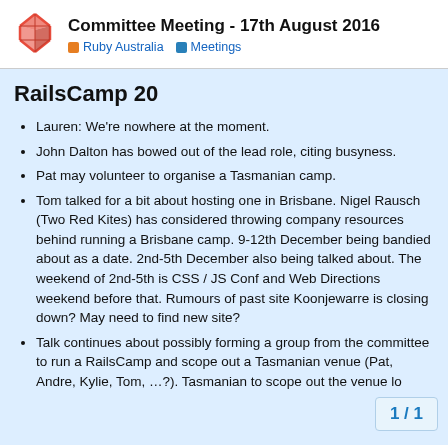Committee Meeting - 17th August 2016 | Ruby Australia | Meetings
RailsCamp 20
Lauren: We're nowhere at the moment.
John Dalton has bowed out of the lead role, citing busyness.
Pat may volunteer to organise a Tasmanian camp.
Tom talked for a bit about hosting one in Brisbane. Nigel Rausch (Two Red Kites) has considered throwing company resources behind running a Brisbane camp. 9-12th December being bandied about as a date. 2nd-5th December also being talked about. The weekend of 2nd-5th is CSS / JS Conf and Web Directions weekend before that. Rumours of past site Koonjewarre is closing down? May need to find new site?
Talk continues about possibly forming a group from the committee to run a RailsCamp and scope out a Tasmanian venue (Pat, Andre, Kylie, Tom, …?). Tasmanian to scope out the venue lo...